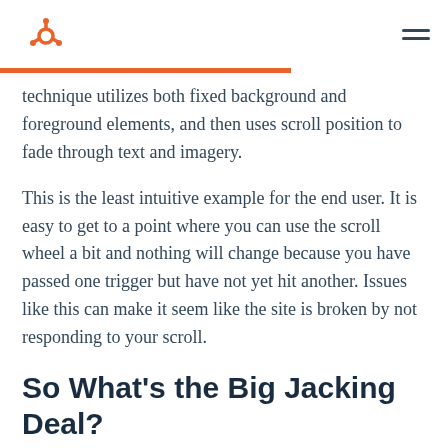HubSpot logo and navigation
technique utilizes both fixed background and foreground elements, and then uses scroll position to fade through text and imagery.
This is the least intuitive example for the end user. It is easy to get to a point where you can use the scroll wheel a bit and nothing will change because you have passed one trigger but have not yet hit another. Issues like this can make it seem like the site is broken by not responding to your scroll.
So What’s the Big Jacking Deal?
Scrolljacking alters the fundamental truth users have